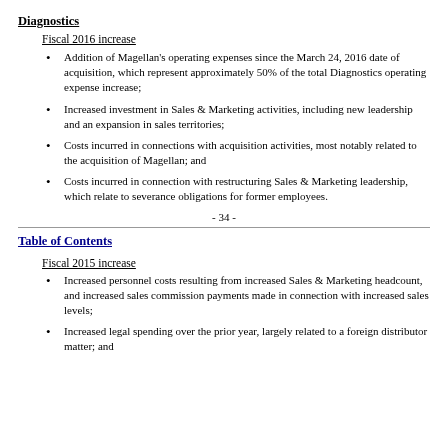Diagnostics
Fiscal 2016 increase
Addition of Magellan’s operating expenses since the March 24, 2016 date of acquisition, which represent approximately 50% of the total Diagnostics operating expense increase;
Increased investment in Sales & Marketing activities, including new leadership and an expansion in sales territories;
Costs incurred in connections with acquisition activities, most notably related to the acquisition of Magellan; and
Costs incurred in connection with restructuring Sales & Marketing leadership, which relate to severance obligations for former employees.
- 34 -
Table of Contents
Fiscal 2015 increase
Increased personnel costs resulting from increased Sales & Marketing headcount, and increased sales commission payments made in connection with increased sales levels;
Increased legal spending over the prior year, largely related to a foreign distributor matter; and